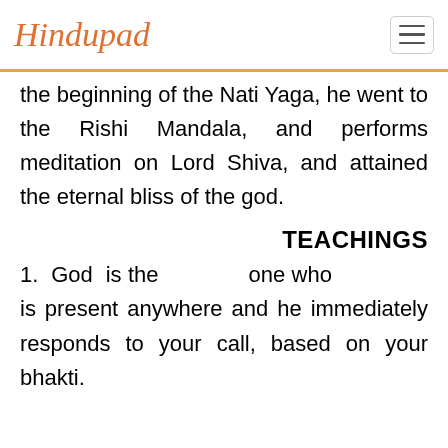Hindupad
the beginning of the Nati Yaga, he went to the Rishi Mandala, and performs meditation on Lord Shiva, and attained the eternal bliss of the god.
TEACHINGS
1. God is the one who is present anywhere and he immediately responds to your call, based on your bhakti.